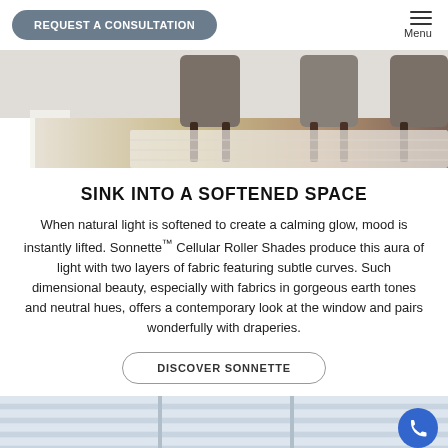REQUEST A CONSULTATION | Menu
[Figure (photo): Interior dining room scene with wooden chairs and hardwood floor, viewed from above/side angle]
SINK INTO A SOFTENED SPACE
When natural light is softened to create a calming glow, mood is instantly lifted. Sonnette™ Cellular Roller Shades produce this aura of light with two layers of fabric featuring subtle curves. Such dimensional beauty, especially with fabrics in gorgeous earth tones and neutral hues, offers a contemporary look at the window and pairs wonderfully with draperies.
DISCOVER SONNETTE
[Figure (photo): Close-up of Sonnette Cellular Roller Shades showing horizontal layered fabric texture in light blue/grey tones]